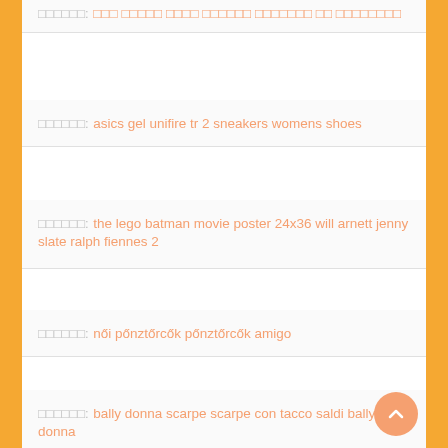□□□□□□: □□□ □□□□□ □□□□ □□□□□□ □□□□□□□ □□ □□□□□□□□
□□□□□□: asics gel unifire tr 2 sneakers womens shoes
□□□□□□: the lego batman movie poster 24x36 will arnett jenny slate ralph fiennes 2
□□□□□□: nŐi pŐnztŐrcŐk pŐnztŐrcŐk amigo
□□□□□□: bally donna scarpe scarpe con tacco saldi bally donna